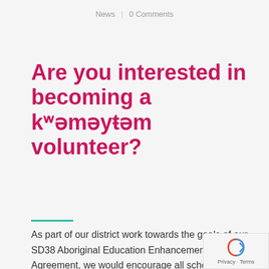News | 0 Comments
Are you interested in becoming a kʷəməyťəm volunteer?
As part of our district work towards the goals of our SD38 Aboriginal Education Enhancement Agreement, we would encourage all schools to